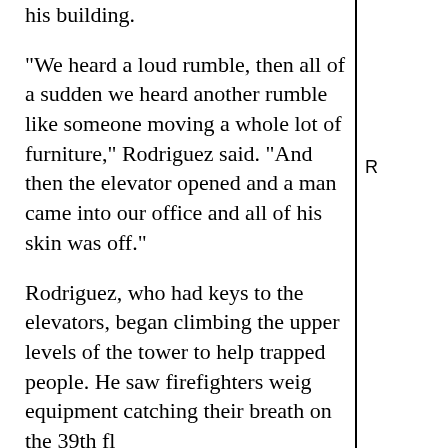his building.
"We heard a loud rumble, then all of a sudden we heard another rumble like someone moving a whole lot of furniture," Rodriguez said. "And then the elevator opened and a man came into our office and all of his skin was off."
Rodriguez, who had keys to the elevators, began climbing the upper levels of the tower to help trapped people. He saw firefighters weighed with equipment catching their breath on the 39th fl
Rodriguez escaped and said he later saw peop fallen from the building embedded in the side woman that looked like she had melted into th
Matthew Cornelius, a Port Authority employe building, crept down 65 flights of stairs to esc minutes per floor.
"It was a total traffic jam in the stairwell, but Cornelius said. "When we got down to the pla officer was yelling, 'Don't look back! Don't lo